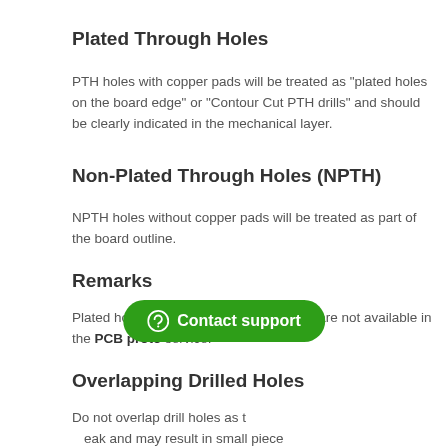Plated Through Holes
PTH holes with copper pads will be treated as "plated holes on the board edge" or "Contour Cut PTH drills" and should be clearly indicated in the mechanical layer.
Non-Plated Through Holes (NPTH)
NPTH holes without copper pads will be treated as part of the board outline.
Remarks
Plated holes overlapping the board edge are not available in the PCB proto service.
Overlapping Drilled Holes
Do not overlap drill holes as this can cause the drill bit to break and may result in small pieces of copper remaining in the hole barrel.
[Figure (other): Contact support button overlay]